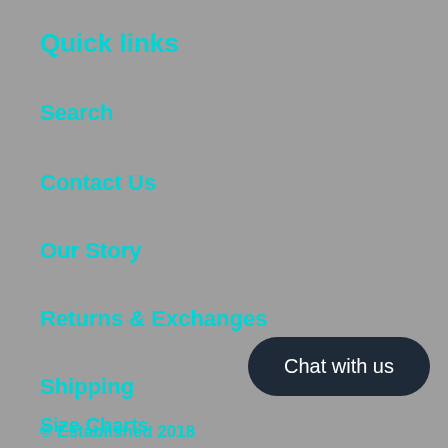Quick links
Search
Contact Us
Our Story
Returns & Exchanges
Shipping
Size Charts
[Figure (other): Chat with us button (dark rounded button)]
© Established 2018